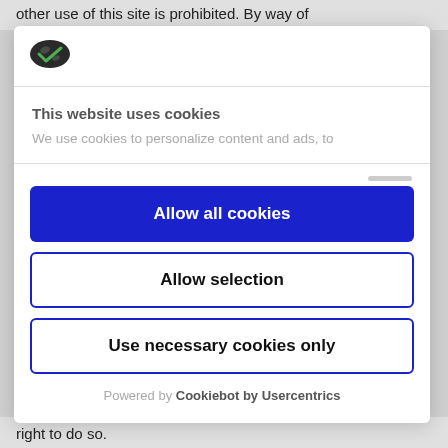other use of this site is prohibited. By way of
[Figure (logo): Cookiebot green shield/cookie logo]
This website uses cookies
We use cookies to personalize content and ads, to
Allow all cookies
Allow selection
Use necessary cookies only
Powered by Cookiebot by Usercentrics
right to do so.